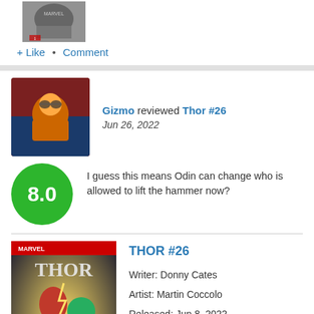[Figure (illustration): Comic book cover thumbnail at top of page, partially visible, black and white or dark tones]
+ Like • Comment
Gizmo reviewed Thor #26
Jun 26, 2022
8.0
I guess this means Odin can change who is allowed to lift the hammer now?
THOR #26
Writer: Donny Cates
Artist: Martin Coccolo
Released: Jun 8, 2022
Publisher: Marvel Comics
[Figure (illustration): Thor #26 comic book cover showing Thor and Hulk-like character with colorful action scene]
+ Like • Comment